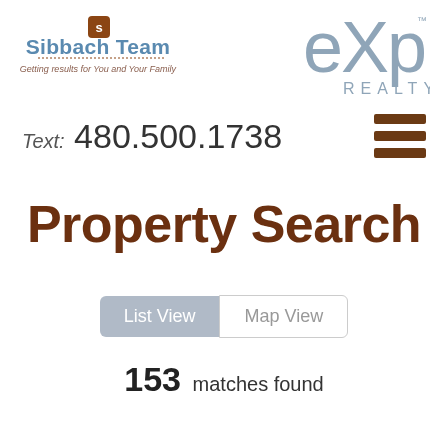[Figure (logo): Sibbach Team logo with house icon and tagline 'Getting results for You and Your Family']
[Figure (logo): eXp Realty logo in gray]
Text: 480.500.1738
[Figure (illustration): Hamburger menu icon with three brown horizontal bars]
Property Search
[Figure (screenshot): List View and Map View toggle buttons]
153 matches found